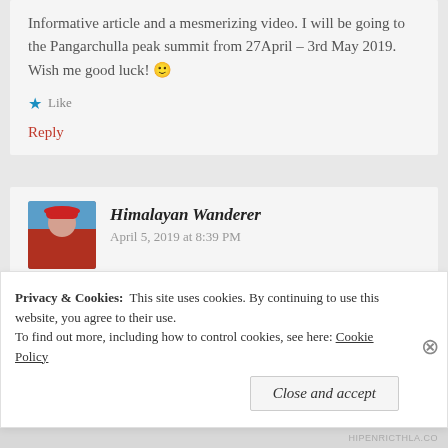Informative article and a mesmerizing video. I will be going to the Pangarchulla peak summit from 27April – 3rd May 2019. Wish me good luck! 🙂
★ Like
Reply
Himalayan Wanderer   April 5, 2019 at 8:39 PM
Good luck Poonam!
Privacy & Cookies:  This site uses cookies. By continuing to use this website, you agree to their use. To find out more, including how to control cookies, see here: Cookie Policy
Close and accept